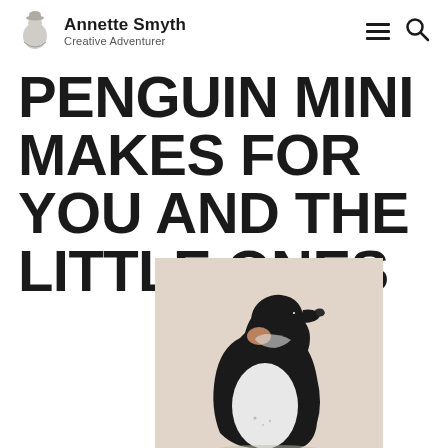Annette Smyth — Creative Adventurer
PENGUIN MINI MAKES FOR YOU AND THE LITTLE ONES
[Figure (photo): A felted/sculpted penguin figurine shown from the side, with black head and back, white belly, and orange/peach cheek patch, against a beige/cream background.]